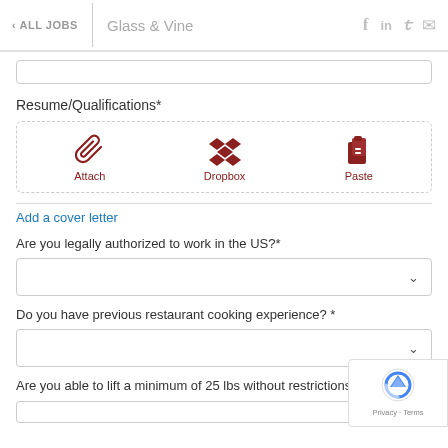< ALL JOBS | Glass & Vine
Resume/Qualifications*
[Figure (infographic): Upload options: Attach (paperclip icon), Dropbox (box icon), Paste (clipboard icon), all in dark red color inside a dashed border box]
Add a cover letter
Are you legally authorized to work in the US?*
Do you have previous restaurant cooking experience? *
Are you able to lift a minimum of 25 lbs without restrictions?*